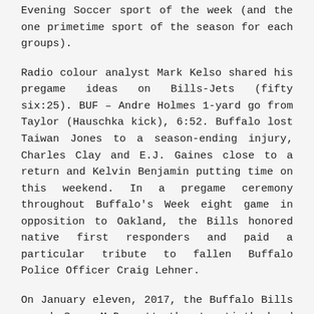Evening Soccer sport of the week (and the one primetime sport of the season for each groups).
Radio colour analyst Mark Kelso shared his pregame ideas on Bills-Jets (fifty six:25). BUF – Andre Holmes 1-yard go from Taylor (Hauschka kick), 6:52. Buffalo lost Taiwan Jones to a season-ending injury, Charles Clay and E.J. Gaines close to a return and Kelvin Benjamin putting time on this weekend. In a pregame ceremony throughout Buffalo's Week eight game in opposition to Oakland, the Bills honored native first responders and paid a particular tribute to fallen Buffalo Police Officer Craig Lehner.
On January eleven, 2017, the Buffalo Bills named Sean McDermott the twentieth head coach in franchise historical past. McDermott joins the Bills after spending six seasons because the defensive coordinator of the Carolina Panthers where he developed a unit that's